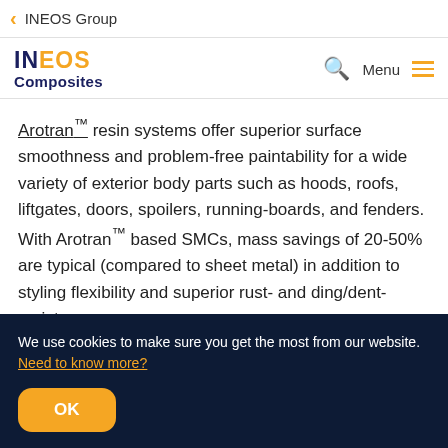< INEOS Group
[Figure (logo): INEOS Composites logo with search icon, Menu text and hamburger icon]
Arotran™ resin systems offer superior surface smoothness and problem-free paintability for a wide variety of exterior body parts such as hoods, roofs, liftgates, doors, spoilers, running-boards, and fenders. With Arotran™ based SMCs, mass savings of 20-50% are typical (compared to sheet metal) in addition to styling flexibility and superior rust- and ding/dent-resistance.
We use cookies to make sure you get the most from our website. Need to know more?
OK